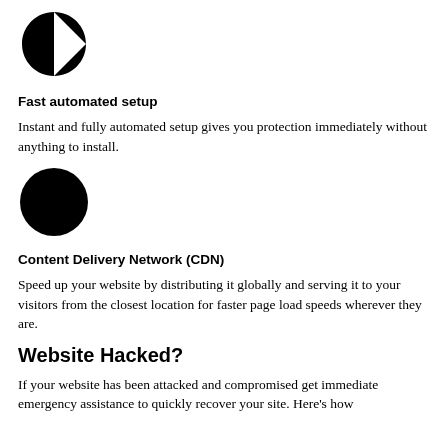[Figure (logo): Black logo icon resembling a stylized face or pac-man shape with a white dot]
Fast automated setup
Instant and fully automated setup gives you protection immediately without anything to install.
[Figure (illustration): Solid black filled circle icon]
Content Delivery Network (CDN)
Speed up your website by distributing it globally and serving it to your visitors from the closest location for faster page load speeds wherever they are.
Website Hacked?
If your website has been attacked and compromised get immediate emergency assistance to quickly recover your site. Here's how